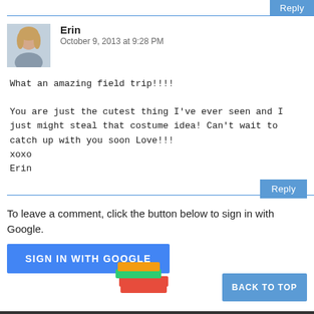Reply
Erin
October 9, 2013 at 9:28 PM
What an amazing field trip!!!!

You are just the cutest thing I've ever seen and I just might steal that costume idea! Can't wait to catch up with you soon Love!!!
xoxo
Erin
Reply
To leave a comment, click the button below to sign in with Google.
SIGN IN WITH GOOGLE
BACK TO TOP